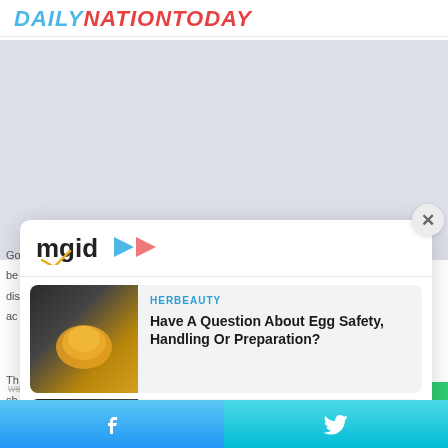DAILYNATIONTODAY
[Figure (screenshot): MGID ad widget showing two sponsored content cards: 1) HERBEAUTY - Have A Question About Egg Safety, Handling Or Preparation? with egg image; 2) BRAINBERRIES - The Hollywood Casting Process Has Always Been Flawed (The Proof) with man image]
web site in the event that they needed to be vaccinated. in
[Figure (other): Footer bar with Facebook and Twitter share buttons in blue/teal gradient]